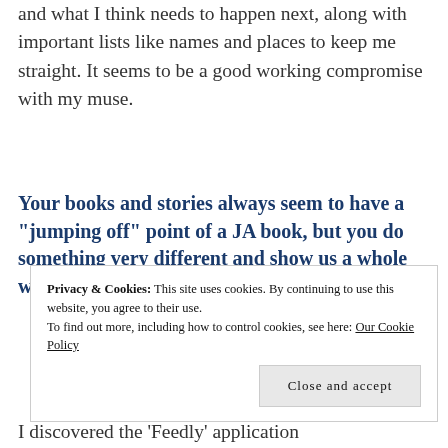and what I think needs to happen next, along with important lists like names and places to keep me straight. It seems to be a good working compromise with my muse.
Your books and stories always seem to have a “jumping off” point of a JA book, but you do something very different and show us a whole world that is different. How do you begin to
Privacy & Cookies: This site uses cookies. By continuing to use this website, you agree to their use. To find out more, including how to control cookies, see here: Our Cookie Policy
I discovered the ‘Feedly’ application